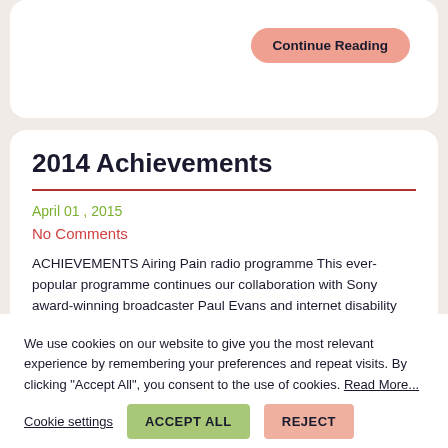Continue Reading
2014 Achievements
April 01 , 2015
No Comments
ACHIEVEMENTS Airing Pain radio programme This ever-popular programme continues our collaboration with Sony award-winning broadcaster Paul Evans and internet disability radio
We use cookies on our website to give you the most relevant experience by remembering your preferences and repeat visits. By clicking “Accept All”, you consent to the use of cookies. Read More...
Cookie settings
ACCEPT ALL
REJECT